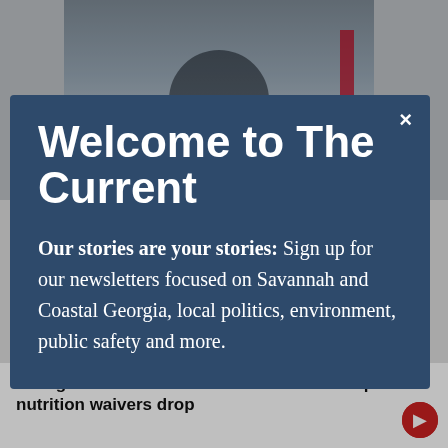[Figure (screenshot): Background screenshot of a person at a hearing or committee meeting, partially visible behind a modal dialog overlay]
Welcome to The Current
Our stories are your stories: Sign up for our newsletters focused on Savannah and Coastal Georgia, local politics, environment, public safety and more.
Georgia children to lose access to food help if nutrition waivers drop